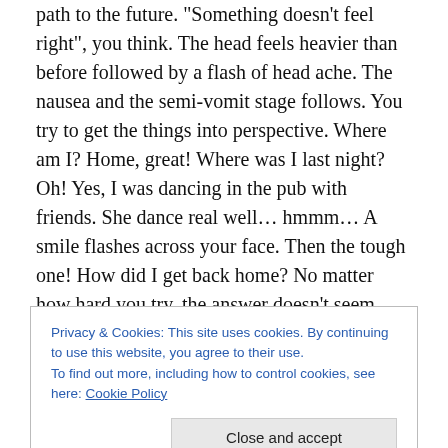path to the future. "Something doesn't feel right", you think. The head feels heavier than before followed by a flash of head ache. The nausea and the semi-vomit stage follows. You try to get the things into perspective. Where am I? Home, great! Where was I last night? Oh! Yes, I was dancing in the pub with friends. She dance real well… hmmm… A smile flashes across your face. Then the tough one! How did I get back home? No matter how hard you try, the answer doesn't seem coming. The head spins faster. You rush to drink water. Had better done that last night after the party. Where is the lemon? Get me a
Privacy & Cookies: This site uses cookies. By continuing to use this website, you agree to their use.
To find out more, including how to control cookies, see here: Cookie Policy
Close and accept
Rate this: